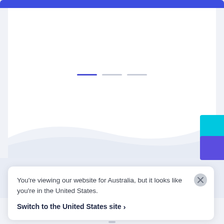[Figure (screenshot): Website screenshot showing a navigation bar at top, a slider/carousel indicator with three dashes (first one highlighted in blue/purple, other two in gray), a light background with diagonal wave shape, decorative cyan and blue rectangles on the right edge.]
You're viewing our website for Australia, but it looks like you're in the United States.
Switch to the United States site ›